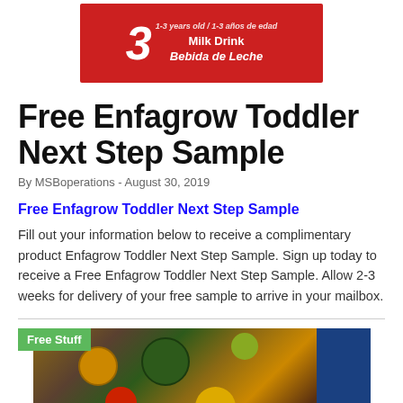[Figure (photo): Enfagrow product packaging on red background showing '3 Milk Drink / Bebida de Leche' with '1-3 years old' text]
Free Enfagrow Toddler Next Step Sample
By MSBoperations - August 30, 2019
Free Enfagrow Toddler Next Step Sample
Fill out your information below to receive a complimentary product Enfagrow Toddler Next Step Sample. Sign up today to receive a Free Enfagrow Toddler Next Step Sample. Allow 2-3 weeks for delivery of your free sample to arrive in your mailbox.
[Figure (photo): Top-down view of party food spread with snacks, dips, and bowls on a wooden table, with a 'Free Stuff' green badge overlay]